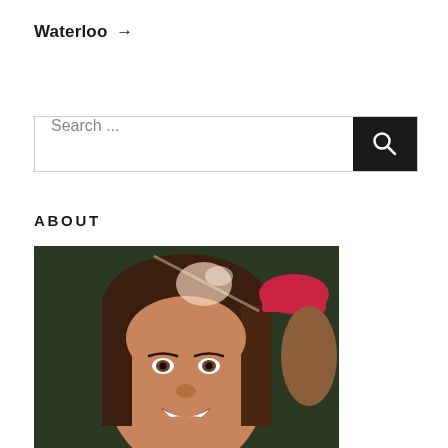Waterloo →
Search ...
ABOUT
[Figure (photo): Close-up photo of a smiling woman with dark brown hair. There is a lens flare visible in the upper area of the image and a person wearing a pink/red hat is partially visible in the background to the right.]